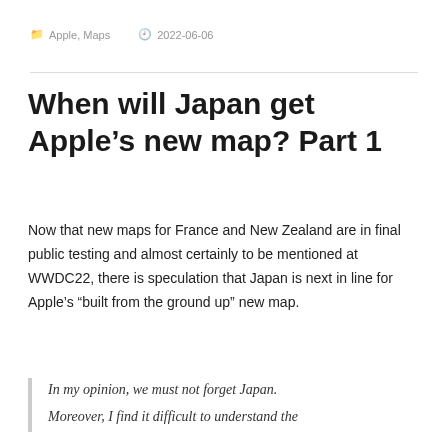Apple, Maps  2022-06-06
When will Japan get Apple’s new map? Part 1
Now that new maps for France and New Zealand are in final public testing and almost certainly to be mentioned at WWDC22, there is speculation that Japan is next in line for Apple’s “built from the ground up” new map.
In my opinion, we must not forget Japan. Moreover, I find it difficult to understand the